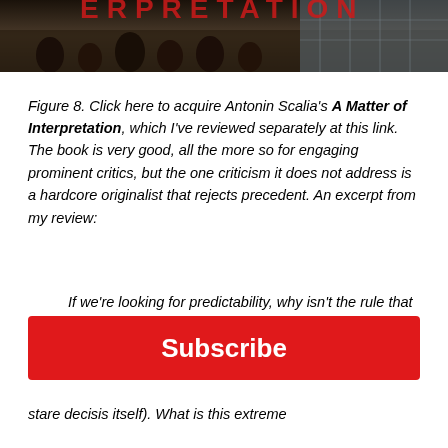[Figure (photo): Top portion of a book cover showing a crowd scene, partially cropped — appears to be the cover of 'A Matter of Interpretation' by Antonin Scalia]
Figure 8. Click here to acquire Antonin Scalia's A Matter of Interpretation, which I've reviewed separately at this link. The book is very good, all the more so for engaging prominent critics, but the one criticism it does not address is a hardcore originalist that rejects precedent. An excerpt from my review:
If we're looking for predictability, why isn't the rule that everyone just stick to the original meaning of the Constitution? If you choose to be extremely faithful to precedent
[Figure (other): Red Subscribe button]
stare decisis itself). What is this extreme